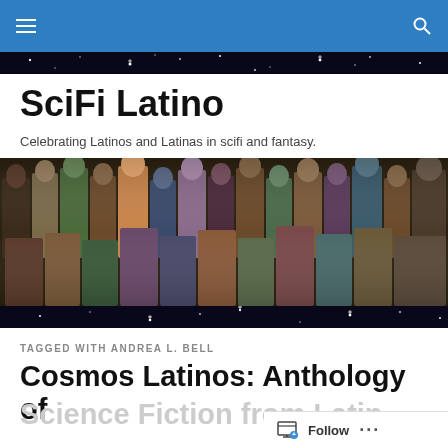SciFi Latino — navigation bar
SciFi Latino
Celebrating Latinos and Latinas in scifi and fantasy.
[Figure (photo): Collage of Latino and Latina actors and characters in science fiction and fantasy, set against a starfield background]
TAGGED WITH ANDREA L. BELL
Cosmos Latinos: Anthology of Science Fiction from Latin